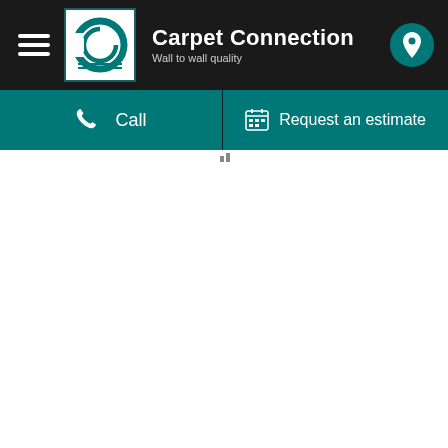[Figure (logo): Carpet Connection logo with teal C letter mark in white square box, company name 'Carpet Connection' in bold white, tagline 'Wall to wall quality', hamburger menu icon, and teal location pin button on dark background]
Call
Request an estimate